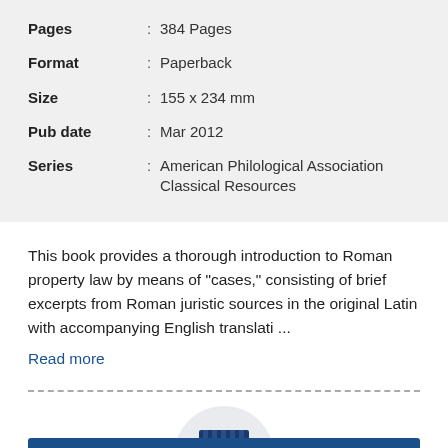| Pages | : | 384 Pages |
| Format | : | Paperback |
| Size | : | 155 x 234 mm |
| Pub date | : | Mar 2012 |
| Series | : | American Philological Association Classical Resources |
This book provides a thorough introduction to Roman property law by means of "cases," consisting of brief excerpts from Roman juristic sources in the original Latin with accompanying English translati ...
Read more
[Figure (illustration): A store/shop icon inside a light gray circle, depicting a storefront with striped awning and a display window, rendered in dark navy blue.]
This item is available through your usual bookshop or bookseller